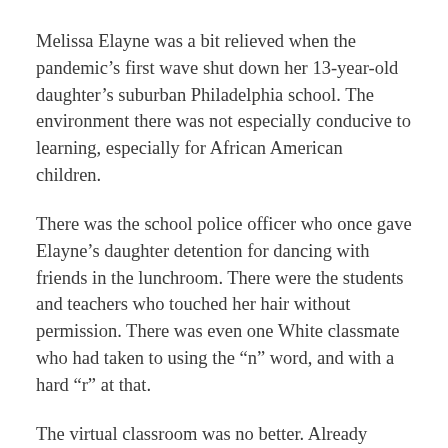Melissa Elayne was a bit relieved when the pandemic’s first wave shut down her 13-year-old daughter’s suburban Philadelphia school. The environment there was not especially conducive to learning, especially for African American children.
There was the school police officer who once gave Elayne’s daughter detention for dancing with friends in the lunchroom. There were the students and teachers who touched her hair without permission. There was even one White classmate who had taken to using the “n” word, and with a hard “r” at that.
The virtual classroom was no better. Already battling a short attention span, Elayne’s daughter was bored to tears by the robotic online instruction provided by unimaginative teachers and an inflexible curriculum that failed to engage students by connecting lesson plans to nationwide protests